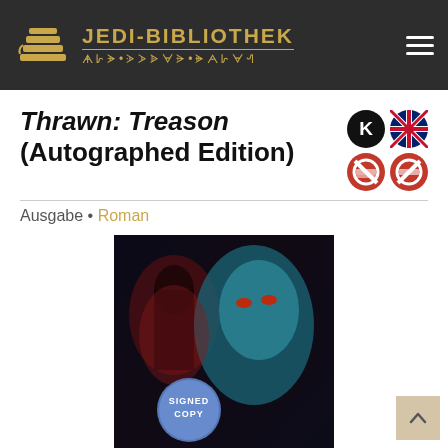JEDI-BIBLIOTHEK
Thrawn: Treason (Autographed Edition)
Ausgabe · Roman
[Figure (photo): Book cover of Thrawn: Treason - Star Wars novel, showing Thrawn with red eyes and blue skin, a hooded Sith figure in background, with a 'SIGNED COPY' badge overlaid on the cover.]